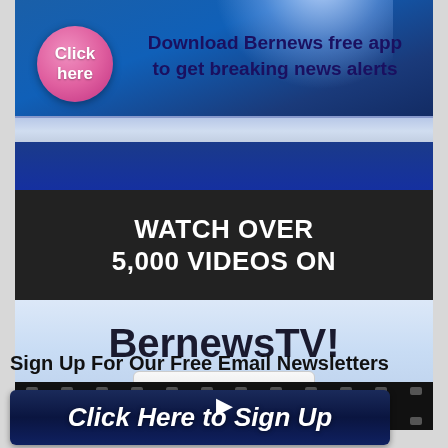[Figure (infographic): Top banner with blue gradient background, pink circle 'Click here' button, text 'Download Bernews free app to get breaking news alerts']
[Figure (infographic): Dark section with white bold text 'WATCH OVER 5,000 VIDEOS ON']
[Figure (infographic): Light blue section with large text 'BernewsTV!' and a 'Click here' button, followed by a film strip with play button]
Sign Up For Our Free Email Newsletters
[Figure (infographic): Dark blue button with italic bold white text 'Click Here to Sign Up']